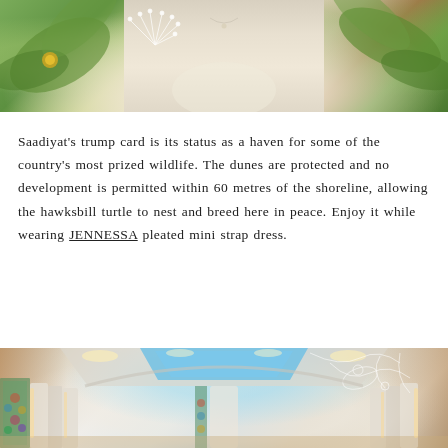[Figure (photo): Woman in white pleated mini strap dress holding a dandelion, surrounded by tropical greenery and yellow flowers]
Saadiyat’s trump card is its status as a haven for some of the country’s most prized wildlife. The dunes are protected and no development is permitted within 60 metres of the shoreline, allowing the hawksbill turtle to nest and breed here in peace. Enjoy it while wearing JENNESSA pleated mini strap dress.
[Figure (photo): Interior of an ornate spa or hammam with decorative tile panels, marble walls, white arch columns, recessed lighting, and a skylight with blue glass]